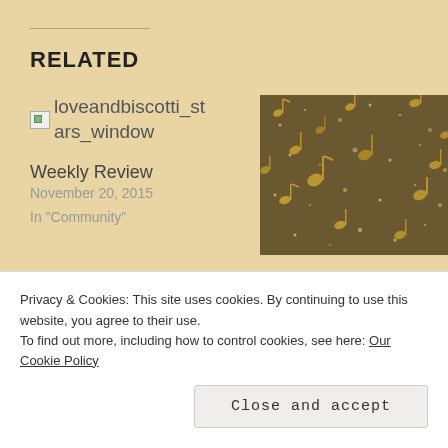RELATED
[Figure (photo): Broken image placeholder showing loveandbiscotti_stars_window filename]
Weekly Review
November 20, 2015
In "Community"
[Figure (photo): Dark glittery background with golden music notes floating]
#RomanticTuesday Song
June 25, 2019
In "90s"
Privacy & Cookies: This site uses cookies. By continuing to use this website, you agree to their use.
To find out more, including how to control cookies, see here: Our Cookie Policy